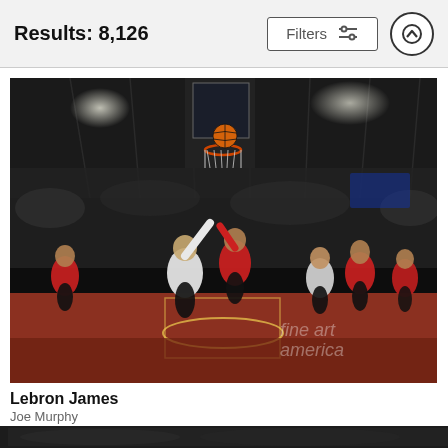Results: 8,126
Filters
[Figure (photo): NBA basketball game action photo showing LeBron James going up for a layup or dunk near the basket, defended by players in red Houston Rockets jerseys, in a packed arena. Watermark reads 'fine art america'.]
Lebron James
Joe Murphy
$9.62
[Figure (photo): Partial bottom strip of another sports photo, partially visible.]